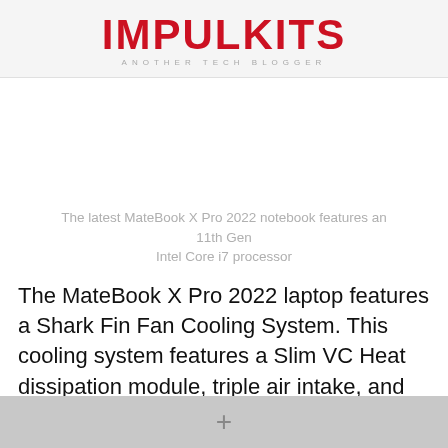IMPULKITS
ANOTHER TECH BLOGGER
[Figure (other): Blank white image placeholder area for MateBook X Pro 2022 notebook photo]
The latest MateBook X Pro 2022 notebook features an 11th Gen Intel Core i7 processor
The MateBook X Pro 2022 laptop features a Shark Fin Fan Cooling System. This cooling system features a Slim VC Heat dissipation module, triple air intake, and an intelligent temperature cooling control. This laptop
+